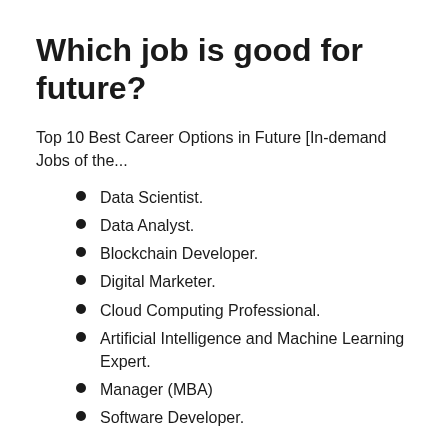Which job is good for future?
Top 10 Best Career Options in Future [In-demand Jobs of the...
Data Scientist.
Data Analyst.
Blockchain Developer.
Digital Marketer.
Cloud Computing Professional.
Artificial Intelligence and Machine Learning Expert.
Manager (MBA)
Software Developer.